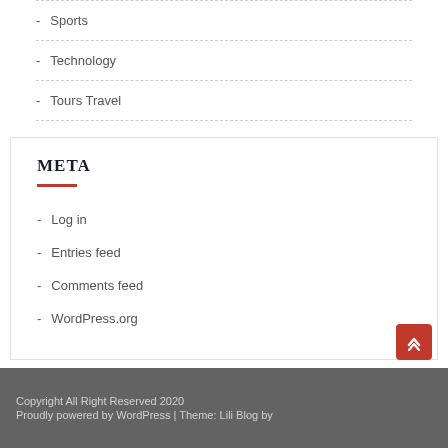- Sports
- Technology
- Tours Travel
META
- Log in
- Entries feed
- Comments feed
- WordPress.org
Copyright All Right Reserved 2020
Proudly powered by WordPress | Theme: Lili Blog by